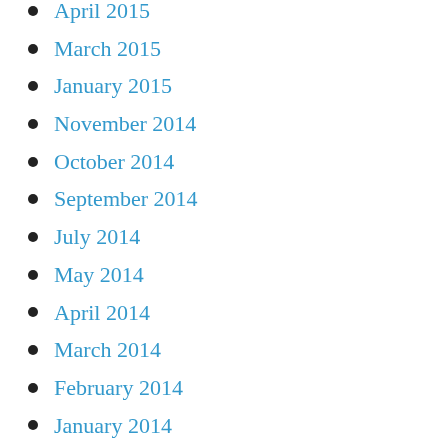April 2015
March 2015
January 2015
November 2014
October 2014
September 2014
July 2014
May 2014
April 2014
March 2014
February 2014
January 2014
December 2013
November 2013
October 2013
September 2013